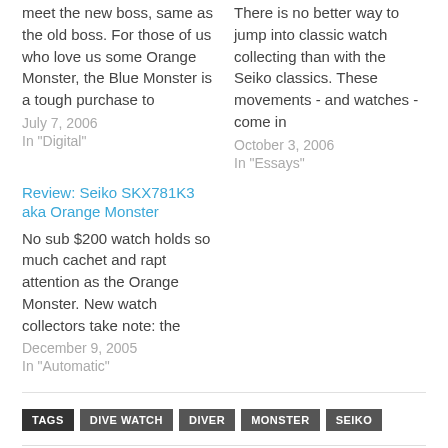meet the new boss, same as the old boss. For those of us who love us some Orange Monster, the Blue Monster is a tough purchase to
July 7, 2006
In "Digital"
There is no better way to jump into classic watch collecting than with the Seiko classics. These movements - and watches - come in
October 3, 2006
In "Essays"
Review: Seiko SKX781K3 aka Orange Monster
No sub $200 watch holds so much cachet and rapt attention as the Orange Monster. New watch collectors take note: the
December 9, 2005
In "Automatic"
TAGS: DIVE WATCH, DIVER, MONSTER, SEIKO
Like 0
[Figure (infographic): Social share buttons: Facebook (blue), Twitter (light blue), Google+ (red-orange), Pinterest (dark red), WhatsApp (green)]